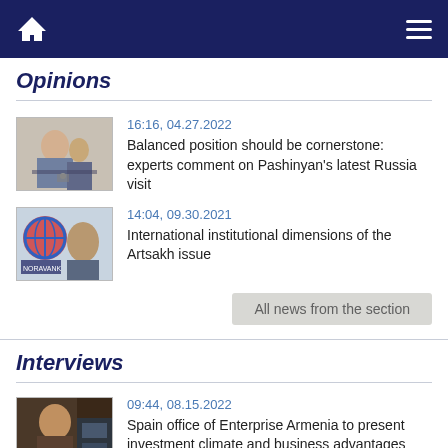Navigation bar with home icon and hamburger menu
Opinions
[Figure (photo): Photo of people at a panel discussion with microphones]
16:16, 04.27.2022
Balanced position should be cornerstone: experts comment on Pashinyan's latest Russia visit
[Figure (photo): Photo of a man with globe/logo background]
14:04, 09.30.2021
International institutional dimensions of the Artsakh issue
All news from the section
Interviews
[Figure (photo): Photo of a man in dark office setting]
09:44, 08.15.2022
Spain office of Enterprise Armenia to present investment climate and business advantages